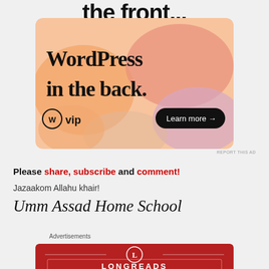[Figure (infographic): WordPress VIP advertisement banner with orange/pink/lavender blob shapes, text reading 'WordPress in the back.' and a 'Learn more →' button, with WP VIP logo]
REPORT THIS AD
Please share, subscribe and comment!
Jazaakom Allahu khair!
Umm Assad Home School
Advertisements
[Figure (infographic): Longreads advertisement banner — dark red background with Longreads logo (circle L) and LONGREADS text in white, horizontal decorative lines]